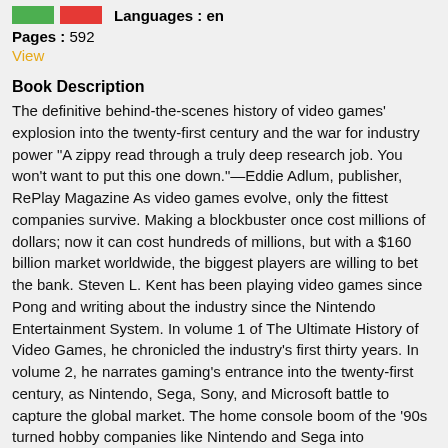Languages : en
Pages : 592
View
Book Description
The definitive behind-the-scenes history of video games' explosion into the twenty-first century and the war for industry power “A zippy read through a truly deep research job. You won't want to put this one down.”—Eddie Adlum, publisher, RePlay Magazine As video games evolve, only the fittest companies survive. Making a blockbuster once cost millions of dollars; now it can cost hundreds of millions, but with a $160 billion market worldwide, the biggest players are willing to bet the bank. Steven L. Kent has been playing video games since Pong and writing about the industry since the Nintendo Entertainment System. In volume 1 of The Ultimate History of Video Games, he chronicled the industry's first thirty years. In volume 2, he narrates gaming's entrance into the twenty-first century, as Nintendo, Sega, Sony, and Microsoft battle to capture the global market. The home console boom of the '90s turned hobby companies like Nintendo and Sega into Hollywood studio-sized